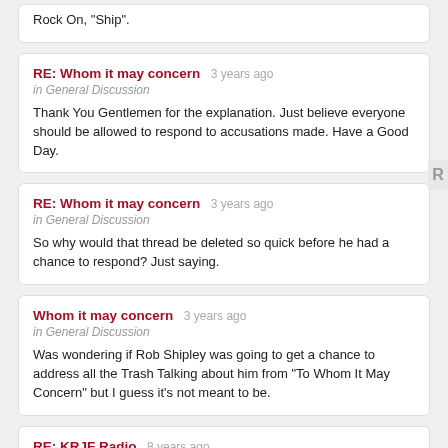Rock On, "Ship".
RE: Whom it may concern 3 years ago
in General Discussion
Thank You Gentlemen for the explanation. Just believe everyone should be allowed to respond to accusations made. Have a Good Day.
RE: Whom it may concern 3 years ago
in General Discussion
So why would that thread be deleted so quick before he had a chance to respond? Just saying.
Whom it may concern 3 years ago
in General Discussion
Was wondering if Rob Shipley was going to get a chance to address all the Trash Talking about him from "To Whom It May Concern" but I guess it's not meant to be.
RE: KRJF Radio 8 years ago
in History & Genealogy
My father George Keller played there in the early to mid fifties as